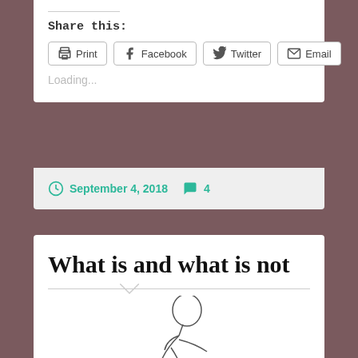Share this:
Print | Facebook | Twitter | Email
Loading...
September 4, 2018  4
What is and what is not
[Figure (illustration): Line drawing illustration of a person hunched over, writing or reading, partially visible at bottom of page]